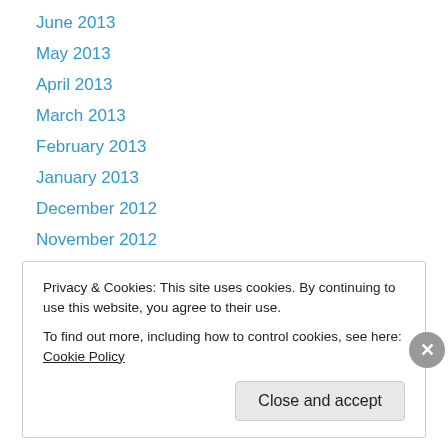June 2013
May 2013
April 2013
March 2013
February 2013
January 2013
December 2012
November 2012
October 2012
September 2012
August 2012
July 2012
June 2012
Privacy & Cookies: This site uses cookies. By continuing to use this website, you agree to their use.
To find out more, including how to control cookies, see here: Cookie Policy
Close and accept